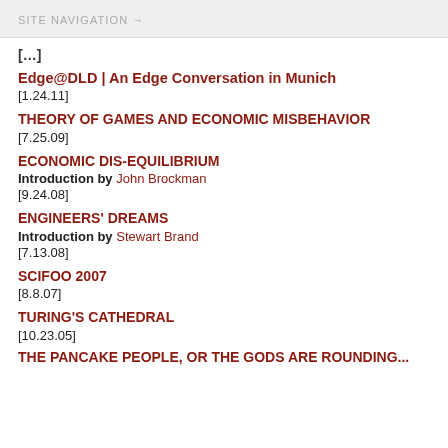SITE NAVIGATION →
[…]
Edge@DLD | An Edge Conversation in Munich [1.24.11]
THEORY OF GAMES AND ECONOMIC MISBEHAVIOR [7.25.09]
ECONOMIC DIS-EQUILIBRIUM
Introduction by John Brockman
[9.24.08]
ENGINEERS' DREAMS
Introduction by Stewart Brand
[7.13.08]
SCIFOO 2007
[8.8.07]
TURING'S CATHEDRAL
[10.23.05]
THE PANCAKE PEOPLE, OR THE GODS ARE ROUNDING…